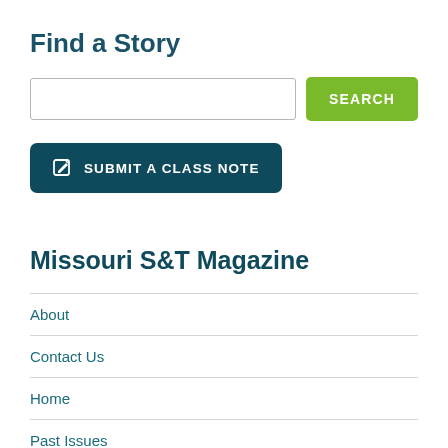Find a Story
[Figure (other): Search input box with a green SEARCH button]
[Figure (other): Dark teal button with edit icon and text SUBMIT A CLASS NOTE]
Missouri S&T Magazine
About
Contact Us
Home
Past Issues
Share your story
Search